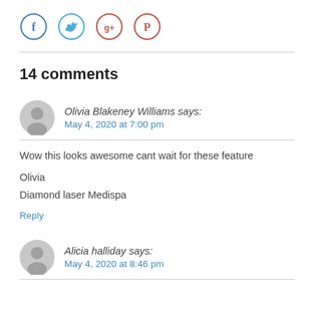[Figure (other): Social sharing icons: Facebook (blue circle), Twitter (cyan circle), Google+ (red circle), Pinterest (red-pink circle)]
14 comments
Olivia Blakeney Williams says: May 4, 2020 at 7:00 pm
Wow this looks awesome cant wait for these feature

Olivia
Diamond laser Medispa
Reply
Alicia halliday says: May 4, 2020 at 8:46 pm